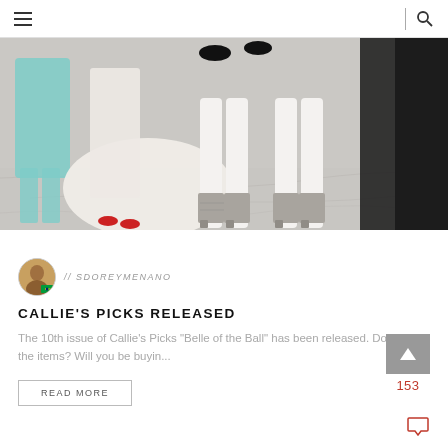Navigation bar with hamburger menu and search icon
[Figure (illustration): Fashion illustration showing lower halves of fashion models wearing white gowns, white stockings and heeled boots on a marble floor. One figure in teal on the left, another in pink/white with red heels, central figures in white with silver heeled boots, a figure in black tights on the right.]
// SDOREYMENANO
CALLIE'S PICKS RELEASED
The 10th issue of Callie's Picks "Belle of the Ball" has been released. Do you like the items? Will you be buyin...
READ MORE
153